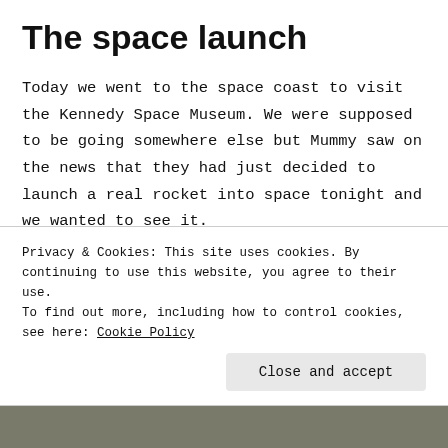The space launch
Today we went to the space coast to visit the Kennedy Space Museum. We were supposed to be going somewhere else but Mummy saw on the news that they had just decided to launch a real rocket into space tonight and we wanted to see it.
First we had a look at the nature and technology. We liked looking at the animals and reading about what experiments they did in space helped nature on
Privacy & Cookies: This site uses cookies. By continuing to use this website, you agree to their use.
To find out more, including how to control cookies, see here: Cookie Policy
[Figure (photo): Partial photo strip visible at bottom of page, appears to show an outdoor scene]